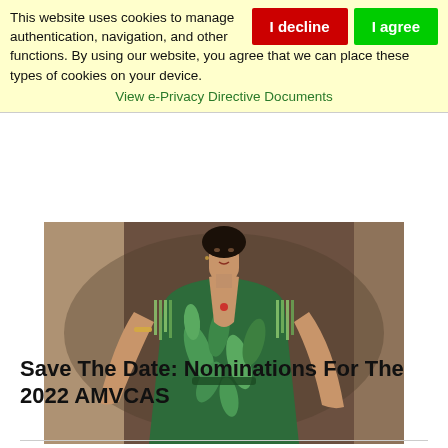This website uses cookies to manage authentication, navigation, and other functions. By using our website, you agree that we can place these types of cookies on your device.
View e-Privacy Directive Documents
[Figure (photo): A woman posing in a green tropical leaf-print dress with fringe shoulders, against a brown studio background.]
Save The Date: Nominations For The 2022 AMVCAS